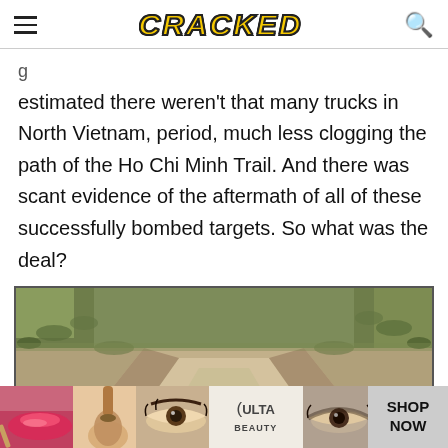CRACKED
g estimated there weren't that many trucks in North Vietnam, period, much less clogging the path of the Ho Chi Minh Trail. And there was scant evidence of the aftermath of all of these successfully bombed targets. So what was the deal?
[Figure (photo): A dirt path or trail through scrubby grass and vegetation, representing the Ho Chi Minh Trail.]
[Figure (photo): Advertisement banner for ULTA Beauty showing cosmetics and makeup close-up photos with 'SHOP NOW' call to action.]